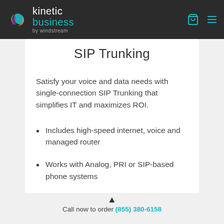kinetic business by windstream
SIP Trunking
Satisfy your voice and data needs with single-connection SIP Trunking that simplifies IT and maximizes ROI.
Includes high-speed internet, voice and managed router
Works with Analog, PRI or SIP-based phone systems
Call now to order (855) 380-6158